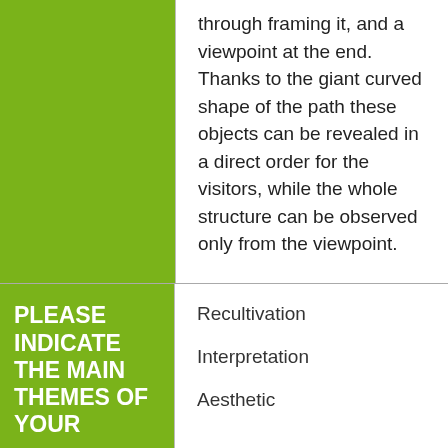through framing it, and a viewpoint at the end. Thanks to the giant curved shape of the path these objects can be revealed in a direct order for the visitors, while the whole structure can be observed only from the viewpoint.
PLEASE INDICATE THE MAIN THEMES OF YOUR
Recultivation
Interpretation
Aesthetic